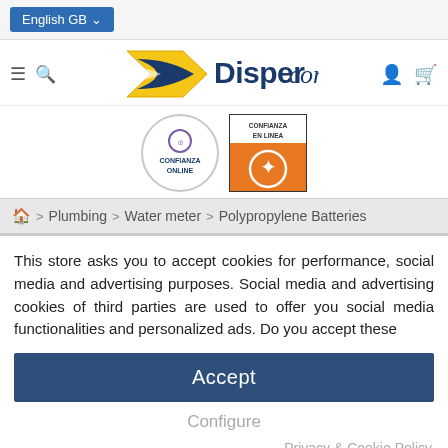English GB
[Figure (logo): Disper.com logo with yellow arrow graphic and Confianza Online / Confianza En Linea trust badges]
Plumbing > Water meter > Polypropylene Batteries
This store asks you to accept cookies for performance, social media and advertising purposes. Social media and advertising cookies of third parties are used to offer you social media functionalities and personalized ads. Do you accept these
Accept
Configure
Privacy & Cookie Policy